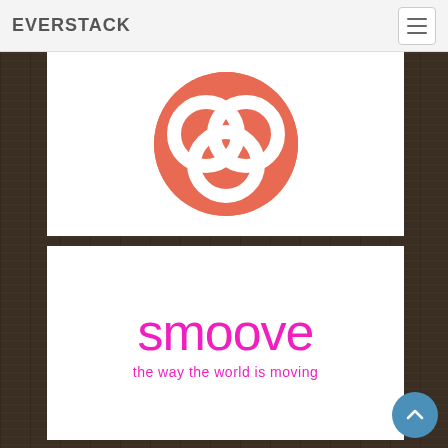EVERSTACK
[Figure (logo): Coral/salmon colored circular logo with interlocking ring shapes on white background]
[Figure (logo): Smoove brand logo in magenta/pink with tagline 'the way the world is moving']